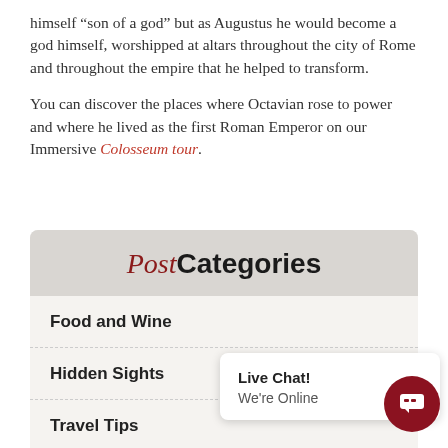himself “son of a god” but as Augustus he would become a god himself, worshipped at altars throughout the city of Rome and throughout the empire that he helped to transform.
You can discover the places where Octavian rose to power and where he lived as the first Roman Emperor on our Immersive Colosseum tour.
Post Categories
Food and Wine
Hidden Sights
Travel Tips
Things to do
History
[Figure (screenshot): Live Chat popup widget with text 'Live Chat! We're Online' and a dark red circular chat button icon]